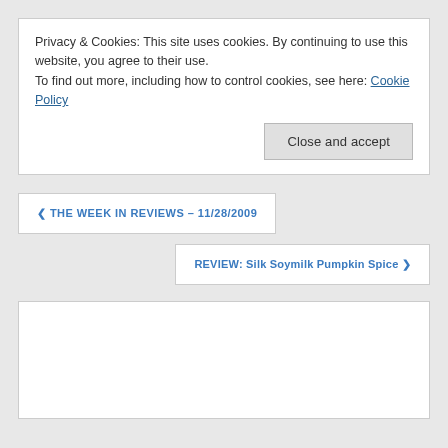Privacy & Cookies: This site uses cookies. By continuing to use this website, you agree to their use.
To find out more, including how to control cookies, see here: Cookie Policy
Close and accept
❮ THE WEEK IN REVIEWS – 11/28/2009
REVIEW: Silk Soymilk Pumpkin Spice ❯